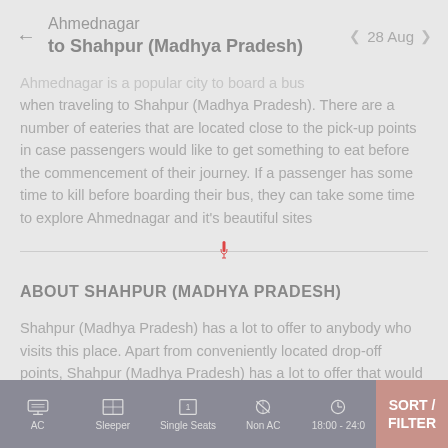Ahmednagar to Shahpur (Madhya Pradesh) | 28 Aug
... Ahmednagar is a popular city to board a bus when traveling to Shahpur (Madhya Pradesh). There are a number of eateries that are located close to the pick-up points in case passengers would like to get something to eat before the commencement of their journey. If a passenger has some time to kill before boarding their bus, they can take some time to explore Ahmednagar and it's beautiful sites
ABOUT SHAHPUR (MADHYA PRADESH)
Shahpur (Madhya Pradesh) has a lot to offer to anybody who visits this place. Apart from conveniently located drop-off points, Shahpur (Madhya Pradesh) has a lot to offer that would entice anyone who visits this place. With
AC | Sleeper | Single Seats | Non AC | 18:00 - 24:0 | SORT / FILTER